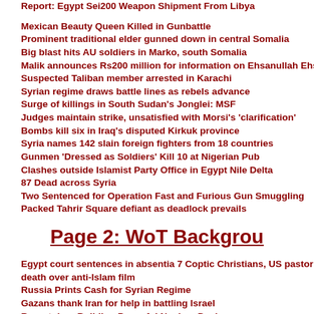Report: Egypt Sei200 Weapon Shipment From Libya
Mexican Beauty Queen Killed in Gunbattle
Prominent traditional elder gunned down in central Somalia
Big blast hits AU soldiers in Marko, south Somalia
Malik announces Rs200 million for information on Ehsanullah Ehs
Suspected Taliban member arrested in Karachi
Syrian regime draws battle lines as rebels advance
Surge of killings in South Sudan's Jonglei: MSF
Judges maintain strike, unsatisfied with Morsi's 'clarification'
Bombs kill six in Iraq's disputed Kirkuk province
Syria names 142 slain foreign fighters from 18 countries
Gunmen 'Dressed as Soldiers' Kill 10 at Nigerian Pub
Clashes outside Islamist Party Office in Egypt Nile Delta
87 Dead across Syria
Two Sentenced for Operation Fast and Furious Gun Smuggling
Packed Tahrir Square defiant as deadlock prevails
Page 2: WoT Background
Egypt court sentences in absentia 7 Coptic Christians, US pastor to death over anti-Islam film
Russia Prints Cash for Syrian Regime
Gazans thank Iran for help in battling Israel
Report: Iran Building Powerful Nuclear Device